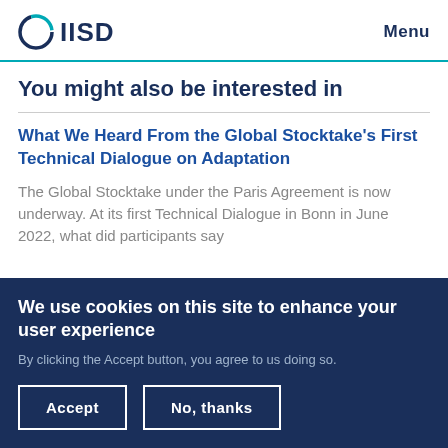IISD  Menu
You might also be interested in
What We Heard From the Global Stocktake's First Technical Dialogue on Adaptation
The Global Stocktake under the Paris Agreement is now underway. At its first Technical Dialogue in Bonn in June 2022, what did participants say
We use cookies on this site to enhance your user experience
By clicking the Accept button, you agree to us doing so.
Accept  No, thanks